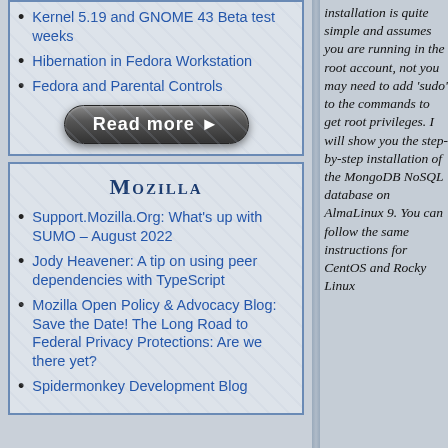Kernel 5.19 and GNOME 43 Beta test weeks
Hibernation in Fedora Workstation
Fedora and Parental Controls
[Figure (illustration): Read more button - dark rounded rectangle button with white text 'Read more ►']
Mozilla
Support.Mozilla.Org: What's up with SUMO – August 2022
Jody Heavener: A tip on using peer dependencies with TypeScript
Mozilla Open Policy & Advocacy Blog: Save the Date! The Long Road to Federal Privacy Protections: Are we there yet?
Spidermonkey Development Blog: Guide to...
installation is quite simple and assumes you are running in the root account, not you may need to add 'sudo' to the commands to get root privileges. I will show you the step-by-step installation of the MongoDB NoSQL database on AlmaLinux 9. You can follow the same instructions for CentOS and Rocky Linux